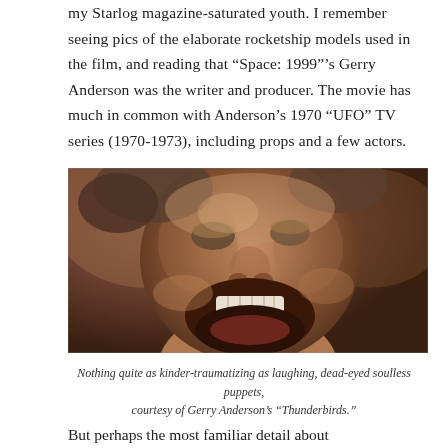my Starlog magazine-saturated youth. I remember seeing pics of the elaborate rocketship models used in the film, and reading that “Space: 1999”’s Gerry Anderson was the writer and producer. The movie has much in common with Anderson’s 1970 “UFO” TV series (1970-1973), including props and a few actors.
[Figure (photo): Close-up photo of a puppet face with an open mouth appearing to laugh or scream, with dead eyes, brown/tan skin tones, resembling a marionette or Supermarionation puppet in the style of Gerry Anderson's Thunderbirds.]
Nothing quite as kinder-traumatizing as laughing, dead-eyed soulless puppets, courtesy of Gerry Anderson’s “Thunderbirds.”
But perhaps the most familiar detail about...